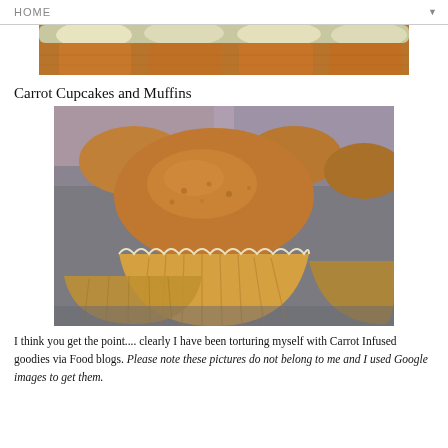HOME
[Figure (photo): Close-up photo of carrot cupcakes with white frosting, cropped at top of page]
Carrot Cupcakes and Muffins
[Figure (photo): Close-up photo of carrot muffins in paper baking cups on a tray]
I think you get the point.... clearly I have been torturing myself with Carrot Infused goodies via Food blogs. Please note these pictures do not belong to me and I used Google images to get them.